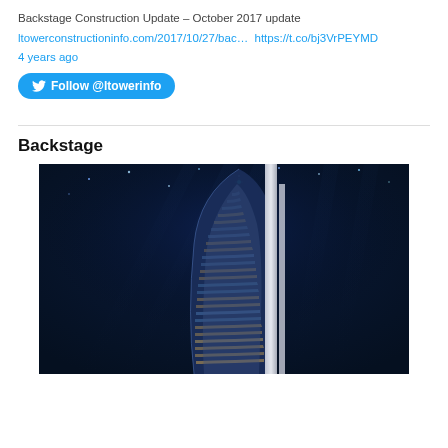Backstage Construction Update – October 2017 update
ltowerconstructioninfo.com/2017/10/27/bac…  https://t.co/bj3VrPEYMD
4 years ago
[Figure (other): Twitter Follow @ltowerinfo button with bird icon]
Backstage
[Figure (photo): Nighttime rendering of a tall curved glass skyscraper building against a dark blue sky with stars and light beams]